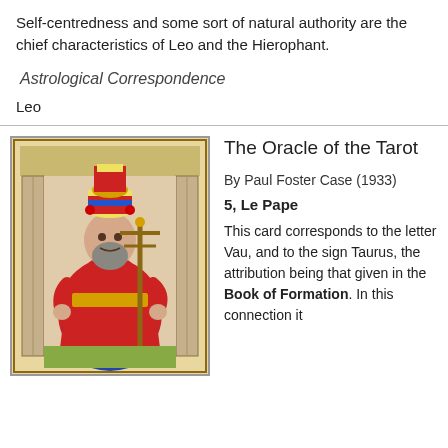Self-centredness and some sort of natural authority are the chief characteristics of Leo and the Hierophant.
Astrological Correspondence
Leo
[Figure (illustration): Tarot card illustration of Le Pape (The Pope/Hierophant), showing a bearded figure in red and gold papal robes and a colorful striped tiara, holding a staff with a cross, seated on a throne with pillars in the background.]
The Oracle of the Tarot
By Paul Foster Case (1933)
5, Le Pape
This card corresponds to the letter Vau, and to the sign Taurus, the attribution being that given in the Book of Formation. In this connection it